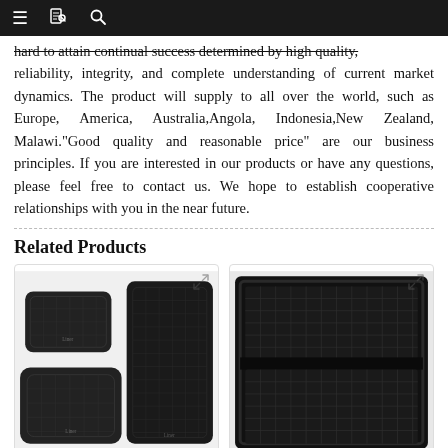Navigation bar with menu, book, and search icons
hard to attain continual success determined by high quality, reliability, integrity, and complete understanding of current market dynamics. The product will supply to all over the world, such as Europe, America, Australia,Angola, Indonesia,New Zealand, Malawi."Good quality and reasonable price" are our business principles. If you are interested in our products or have any questions, please feel free to contact us. We hope to establish cooperative relationships with you in the near future.
Related Products
[Figure (photo): Three black rubber car trunk mats - two smaller pieces and one large cargo mat shown together]
[Figure (photo): Close-up of a black rubber floor mat with grid pattern and raised edges for vehicles]